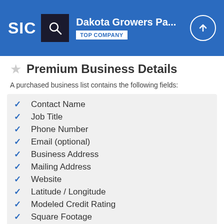Dakota Growers Pa... TOP COMPANY
Premium Business Details
A purchased business list contains the following fields:
Contact Name
Job Title
Phone Number
Email (optional)
Business Address
Mailing Address
Website
Latitude / Longitude
Modeled Credit Rating
Square Footage
Public / Private
Location Type*